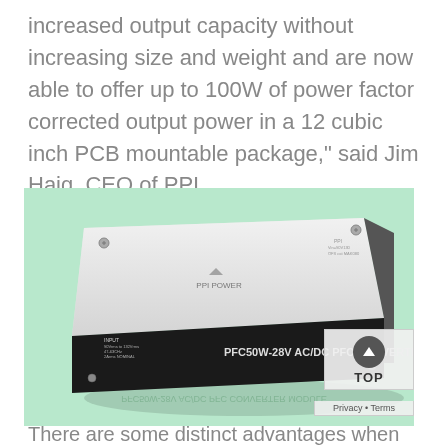increased output capacity without increasing size and weight and are now able to offer up to 100W of power factor corrected output power in a 12 cubic inch PCB mountable package," said Jim Haig, CEO of PPI.
[Figure (photo): Photo of a PPI Power PFC50W-28V AC/DC PFC Converter Module — a flat rectangular metal enclosure with black sides on a mint green background]
There are some distinct advantages when